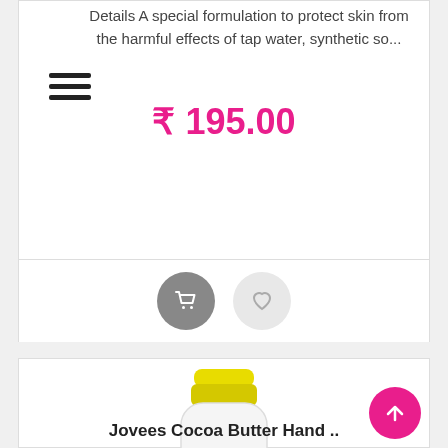Details A special formulation to protect skin from the harmful effects of tap water, synthetic so...
₹ 195.00
[Figure (screenshot): Cart icon button (dark grey circle) and heart/wishlist icon (light grey circle)]
[Figure (photo): Jovees Cocoa Butter Hand and Body Lotion with SPF bottle - white bottle with yellow cap, all skin type]
Jovees Cocoa Butter Hand ..